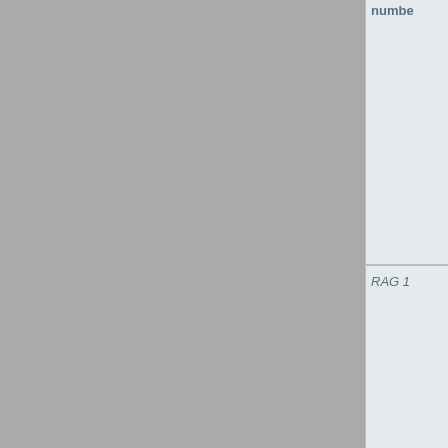| number | RAG 1 | RAG 2 |
| --- | --- | --- |
|  |  |  |
|  |  |  |